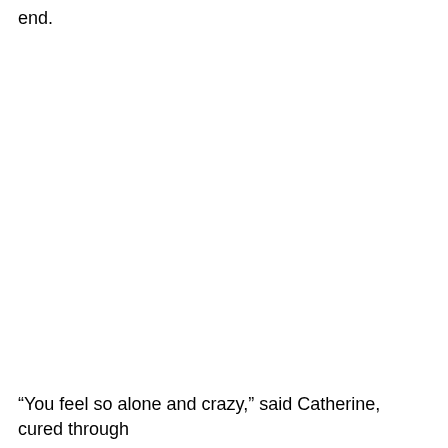end.
“You feel so alone and crazy,” said Catherine, cured through